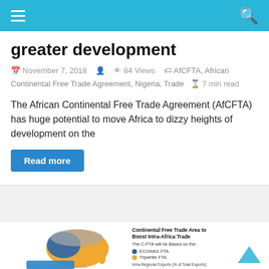Navigation bar with hamburger menu and search icon
greater development
November 7, 2018   84 Views   AfCFTA, African Continental Free Trade Agreement, Nigeria, Trade   7 min read
The African Continental Free Trade Agreement (AfCFTA) has huge potential to move Africa to dizzy heights of development on the
Read more
[Figure (map): Map of Africa showing ECOWAS FTA regions (blue) and Tripartite FTA regions (orange), with infographic panel titled 'Continental Free Trade Area to Boost Intra-Africa Trade' showing legend and Intra-Regional Exports stats for Africa (4.0%), Latin America (20%), and Developing Asia (50%)]